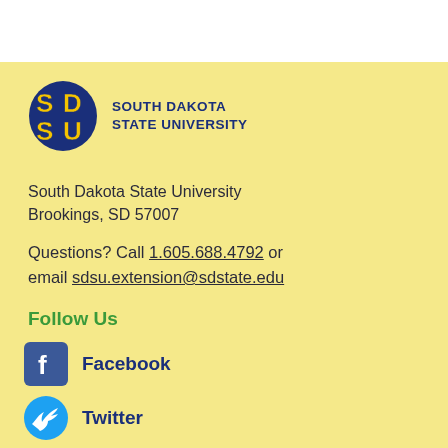[Figure (logo): South Dakota State University logo with SDSU letters in blue and gold, and text 'South Dakota State University' in blue]
South Dakota State University
Brookings, SD 57007
Questions? Call 1.605.688.4792 or email sdsu.extension@sdstate.edu
Follow Us
Facebook
Twitter